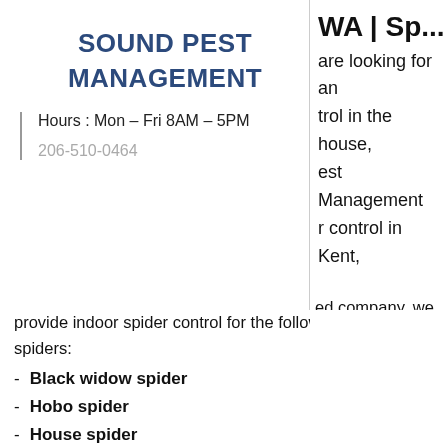SOUND PEST MANAGEMENT
Hours : Mon – Fri 8AM – 5PM
206-510-0464
WA | Sp...
are looking for an
trol in the house,
est Management
r control in Kent,
ed company, we provide indoor spider control for the following types of spiders:
Black widow spider
Hobo spider
House spider
Wolf spider